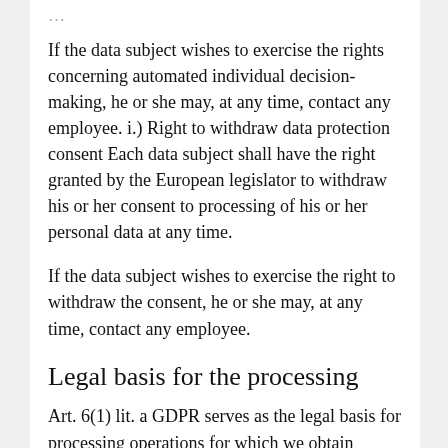If the data subject wishes to exercise the rights concerning automated individual decision-making, he or she may, at any time, contact any employee. i.) Right to withdraw data protection consent Each data subject shall have the right granted by the European legislator to withdraw his or her consent to processing of his or her personal data at any time.
If the data subject wishes to exercise the right to withdraw the consent, he or she may, at any time, contact any employee.
Legal basis for the processing
Art. 6(1) lit. a GDPR serves as the legal basis for processing operations for which we obtain consent for a specific processing purpose. If the